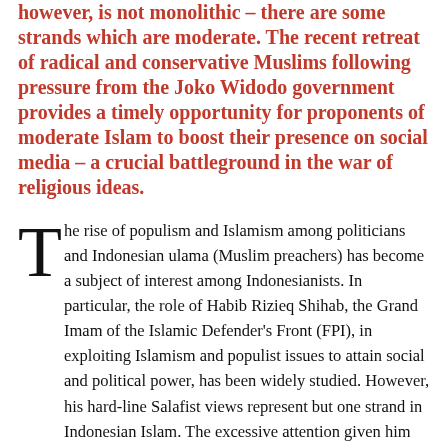however, is not monolithic – there are some strands which are moderate. The recent retreat of radical and conservative Muslims following pressure from the Joko Widodo government provides a timely opportunity for proponents of moderate Islam to boost their presence on social media – a crucial battleground in the war of religious ideas.
The rise of populism and Islamism among politicians and Indonesian ulama (Muslim preachers) has become a subject of interest among Indonesianists. In particular, the role of Habib Rizieq Shihab, the Grand Imam of the Islamic Defender's Front (FPI), in exploiting Islamism and populist issues to attain social and political power, has been widely studied. However, his hard-line Salafist views represent but one strand in Indonesian Islam. The excessive attention given him has sadly led to other strands and divisions of populist islam to be studied...